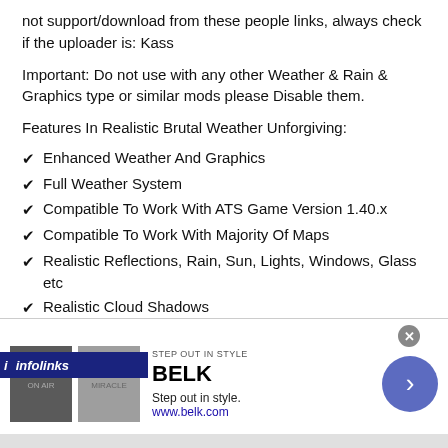not support/download from these people links, always check if the uploader is: Kass
Important: Do not use with any other Weather & Rain & Graphics type or similar mods please Disable them.
Features In Realistic Brutal Weather Unforgiving:
Enhanced Weather And Graphics
Full Weather System
Compatible To Work With ATS Game Version 1.40.x
Compatible To Work With Majority Of Maps
Realistic Reflections, Rain, Sun, Lights, Windows, Glass etc
Realistic Cloud Shadows
Realistic Rain & Effects
Realistic Thunder Sounds (Over 40)
[Figure (screenshot): Infolinks advertisement banner for BELK - Step out in style. www.belk.com]